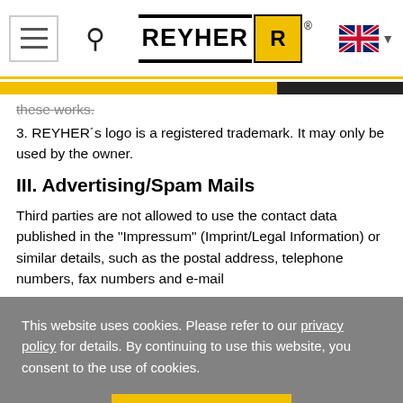REYHER - navigation header with hamburger menu, search, logo, and language selector
these works.
3. REYHER´s logo is a registered trademark. It may only be used by the owner.
III. Advertising/Spam Mails
Third parties are not allowed to use the contact data published in the "Impressum" (Imprint/Legal Information) or similar details, such as the postal address, telephone numbers, fax numbers and e-mail
This website uses cookies. Please refer to our privacy policy for details. By continuing to use this website, you consent to the use of cookies.
OK